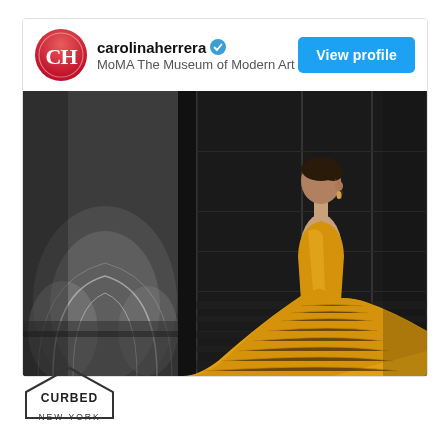[Figure (screenshot): Instagram profile card for carolinaherrera at MoMA The Museum of Modern Art, with a 'View profile' button. Below the header is a large photo of a woman in a voluminous yellow/golden strapless gown standing in front of a dark modern building, with a grey architectural wall sculpture on the left.]
[Figure (logo): Curbed New York logo — house-shaped outline with 'CURBED' in blocky letters inside, 'NEW YORK' beneath in small caps.]